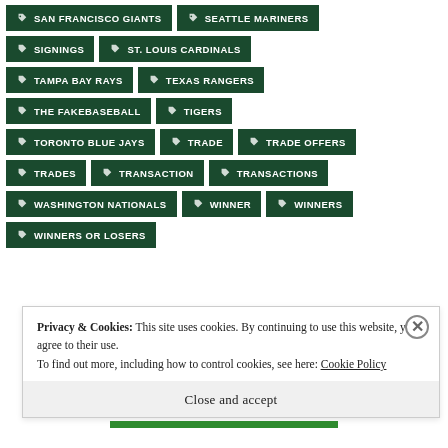SAN FRANCISCO GIANTS
SEATTLE MARINERS
SIGNINGS
ST. LOUIS CARDINALS
TAMPA BAY RAYS
TEXAS RANGERS
THE FAKEBASEBALL
TIGERS
TORONTO BLUE JAYS
TRADE
TRADE OFFERS
TRADES
TRANSACTION
TRANSACTIONS
WASHINGTON NATIONALS
WINNER
WINNERS
WINNERS OR LOSERS
Privacy & Cookies: This site uses cookies. By continuing to use this website, you agree to their use. To find out more, including how to control cookies, see here: Cookie Policy
Close and accept